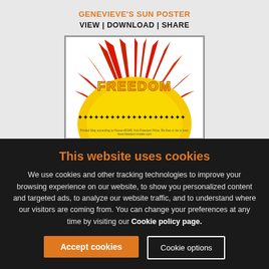GENEVIEVE'S SUN POSTER
VIEW | DOWNLOAD | SHARE
[Figure (illustration): A hand-drawn poster showing a large yellow sun with red/orange rays and the word FREEDOM in yellow block letters. Along the bottom of the sun are small silhouettes of people holding hands.]
FREEDOM FLAG
VIEW | DOWNLOAD A4 or A3 | SHARE
This website uses cookies
We use cookies and other tracking technologies to improve your browsing experience on our website, to show you personalized content and targeted ads, to analyze our website traffic, and to understand where our visitors are coming from. You can change your preferences at any time by visiting our Cookie policy page.
Accept cookies
Cookie options